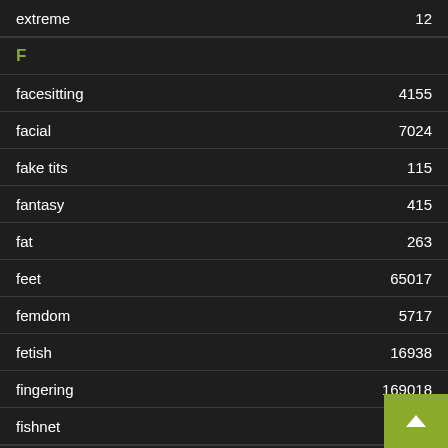extreme 12
F
facesitting 4155
facial 7024
fake tits 115
fantasy 415
fat 263
feet 65017
femdom 5717
fetish 16938
fingering 169018
fishnet 52
G
gagging 40200
gamer
gangbang